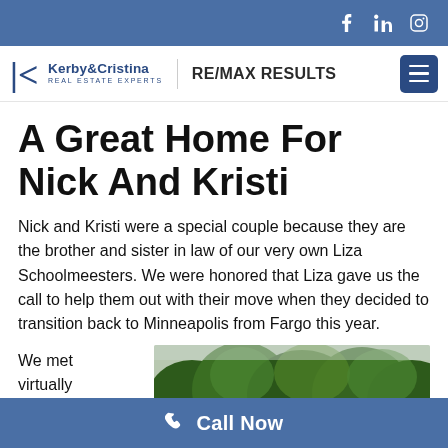Social icons: Facebook, LinkedIn, Instagram
[Figure (logo): Kerby & Cristina Real Estate Experts logo with RE/MAX RESULTS branding and hamburger menu button]
A Great Home For Nick And Kristi
Nick and Kristi were a special couple because they are the brother and sister in law of our very own Liza Schoolmeesters. We were honored that Liza gave us the call to help them out with their move when they decided to transition back to Minneapolis from Fargo this year.
We met virtually
[Figure (photo): Outdoor photo of green trees with overcast sky]
Call Now